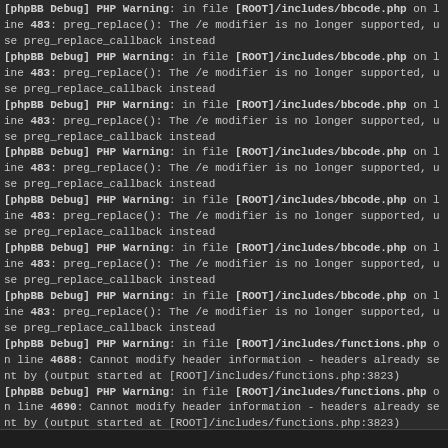[phpBB Debug] PHP Warning: in file [ROOT]/includes/bbcode.php on line 483: preg_replace(): The /e modifier is no longer supported, use preg_replace_callback instead
[phpBB Debug] PHP Warning: in file [ROOT]/includes/bbcode.php on line 483: preg_replace(): The /e modifier is no longer supported, use preg_replace_callback instead
[phpBB Debug] PHP Warning: in file [ROOT]/includes/bbcode.php on line 483: preg_replace(): The /e modifier is no longer supported, use preg_replace_callback instead
[phpBB Debug] PHP Warning: in file [ROOT]/includes/bbcode.php on line 483: preg_replace(): The /e modifier is no longer supported, use preg_replace_callback instead
[phpBB Debug] PHP Warning: in file [ROOT]/includes/bbcode.php on line 483: preg_replace(): The /e modifier is no longer supported, use preg_replace_callback instead
[phpBB Debug] PHP Warning: in file [ROOT]/includes/bbcode.php on line 483: preg_replace(): The /e modifier is no longer supported, use preg_replace_callback instead
[phpBB Debug] PHP Warning: in file [ROOT]/includes/bbcode.php on line 483: preg_replace(): The /e modifier is no longer supported, use preg_replace_callback instead
[phpBB Debug] PHP Warning: in file [ROOT]/includes/functions.php on line 4688: Cannot modify header information - headers already sent by (output started at [ROOT]/includes/functions.php:3823)
[phpBB Debug] PHP Warning: in file [ROOT]/includes/functions.php on line 4690: Cannot modify header information - headers already sent by (output started at [ROOT]/includes/functions.php:3823)
[phpBB Debug] PHP Warning: in file [ROOT]/includes/functions.php on line 4691: Cannot modify header information - headers already sent by (output started at [ROOT]/includes/functions.php:3823)
[phpBB Debug] PHP Warning: in file [ROOT]/includes/functions.php on line 4692: Cannot modify header information - headers already sent by (output started at [ROOT]/includes/functions.php:3823)